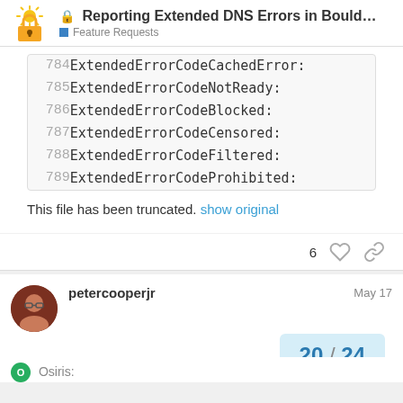Reporting Extended DNS Errors in Boulder pr... — Feature Requests
| line | code |
| --- | --- |
| 784 | ExtendedErrorCodeCachedError: |
| 785 | ExtendedErrorCodeNotReady: |
| 786 | ExtendedErrorCodeBlocked: |
| 787 | ExtendedErrorCodeCensored: |
| 788 | ExtendedErrorCodeFiltered: |
| 789 | ExtendedErrorCodeProhibited: |
This file has been truncated. show original
6 likes
petercooperjr  May 17
20 / 24
Osiris: